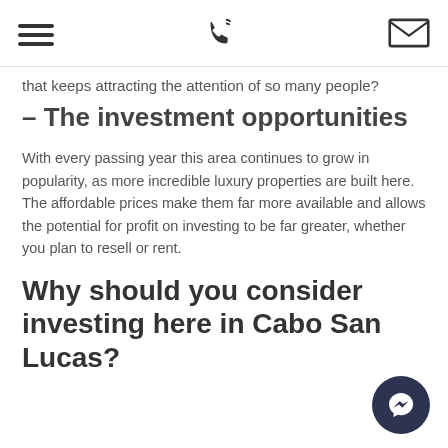[hamburger menu icon] [phone icon] [email icon]
that keeps attracting the attention of so many people?
– The investment opportunities
With every passing year this area continues to grow in popularity, as more incredible luxury properties are built here. The affordable prices make them far more available and allows the potential for profit on investing to be far greater, whether you plan to resell or rent.
Why should you consider investing here in Cabo San Lucas?
[Figure (logo): Facebook Messenger button icon, dark navy circle with white lightning bolt messenger logo]